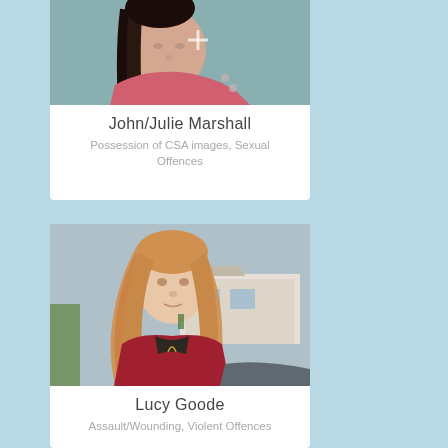[Figure (photo): Photo of John/Julie Marshall, a person with dark hair]
John/Julie Marshall
Possession of CSA images, Sexual Offences
[Figure (photo): Photo of Lucy Goode, a person with long reddish-blonde hair wearing a red jacket]
Lucy Goode
Assault/Wounding, Violent Offences